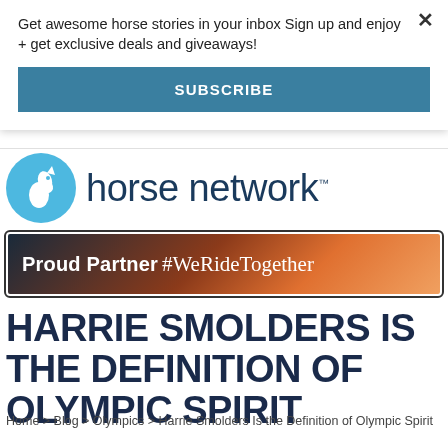Get awesome horse stories in your inbox Sign up and enjoy + get exclusive deals and giveaways!
SUBSCRIBE
[Figure (logo): Horse Network logo with blue circle containing a horse silhouette and the text 'horse network' in dark navy]
[Figure (infographic): Banner with dark navy, red, and orange gradient background reading 'Proud Partner #WeRideTogether' in white text]
HARRIE SMOLDERS IS THE DEFINITION OF OLYMPIC SPIRIT
Home > Blog > Olympics > Harrie Smolders Is the Definition of Olympic Spirit